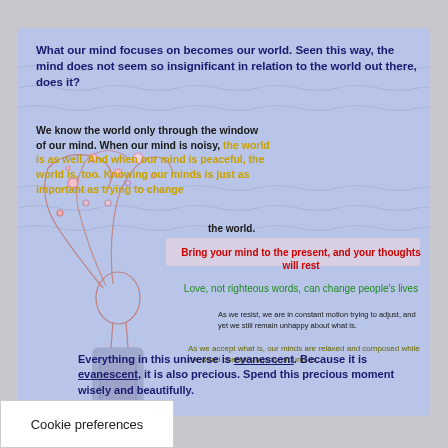[Figure (illustration): Decorative infographic with lavender/blue background with wavy lines and a line-art illustration of a woman with flowing hair filled with flowers. Multiple inspirational quotes in different colors and sizes are overlaid on the background.]
What our mind focuses on becomes our world. Seen this way, the mind does not seem so insignificant in relation to the world out there, does it?
We know the world only through the window of our mind. When our mind is noisy, the world is as well. And when our mind is peaceful, the world is, too. Knowing our minds is just as important as trying to change the world.
Bring your mind to the present, and your thoughts will rest
Love, not righteous words, can change people's lives
As we resist, we are in constant motion trying to adjust, and yet we still remain unhappy about what is.
As we accept what is, our minds are relaxed and composed while the world changes rapidly around us.
Everything in this universe is evanescent. Because it is evanescent, it is also precious. Spend this precious moment wisely and beautifully.
Cookie preferences